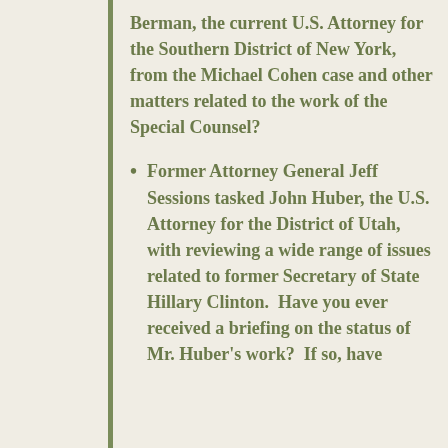Berman, the current U.S. Attorney for the Southern District of New York, from the Michael Cohen case and other matters related to the work of the Special Counsel?
Former Attorney General Jeff Sessions tasked John Huber, the U.S. Attorney for the District of Utah, with reviewing a wide range of issues related to former Secretary of State Hillary Clinton.  Have you ever received a briefing on the status of Mr. Huber's work?  If so, have